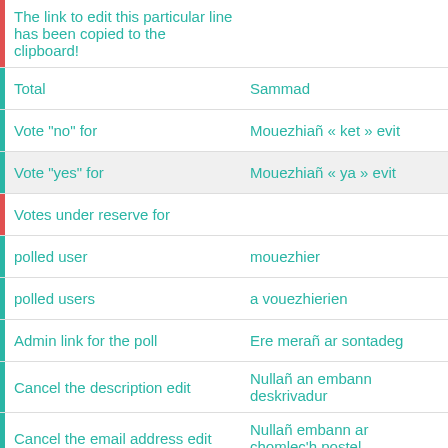| The link to edit this particular line has been copied to the clipboard! |  | ⧉ ⟳ |
| Total | Sammad | ⧉ ⟳ |
| Vote "no" for | Mouezhiañ « ket » evit | ⧉ ⟳ |
| Vote "yes" for | Mouezhiañ « ya » evit | ⧉ ⟳ |
| Votes under reserve for |  | ⧉ ⟳ |
| polled user | mouezhier | ⧉ ⟳ |
| polled users | a vouezhierien | ⧉ ⟳ |
| Admin link for the poll | Ere merañ ar sontadeg | ⧉ ⟳ |
| Cancel the description edit | Nullañ an embann deskrivadur | ⧉ ⟳ |
| Cancel the email address edit | Nullañ embann ar chomlec'h postel | ⧉ ⟳ |